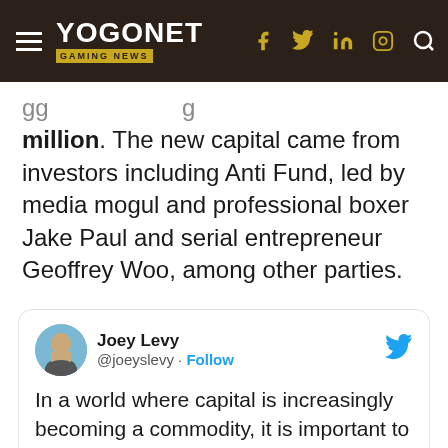YOGONET GAMING NEWS
million. The new capital came from investors including Anti Fund, led by media mogul and professional boxer Jake Paul and serial entrepreneur Geoffrey Woo, among other parties.
[Figure (screenshot): Embedded tweet from @joeyslevy (Joey Levy) with Twitter bird icon: 'In a world where capital is increasingly becoming a commodity, it is important to us that our next capital partner accelerate the mainstream adoption of micro-betting.']